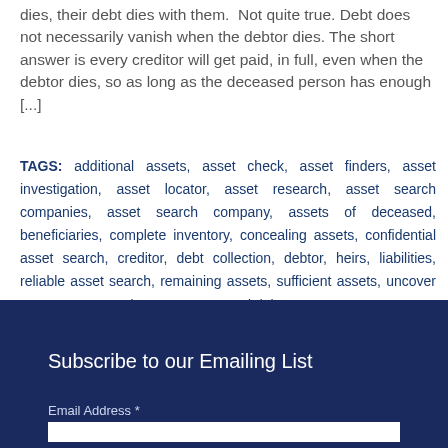dies, their debt dies with them.  Not quite true. Debt does not necessarily vanish when the debtor dies. The short answer is every creditor will get paid, in full, even when the debtor dies, so as long as the deceased person has enough [...]
TAGS: additional assets, asset check, asset finders, asset investigation, asset locator, asset research, asset search companies, asset search company, assets of deceased, beneficiaries, complete inventory, concealing assets, confidential asset search, creditor, debt collection, debtor, heirs, liabilities, reliable asset search, remaining assets, sufficient assets, uncover assets, uncovered assets, unsecured debts
Subscribe to our Emailing List
Email Address *